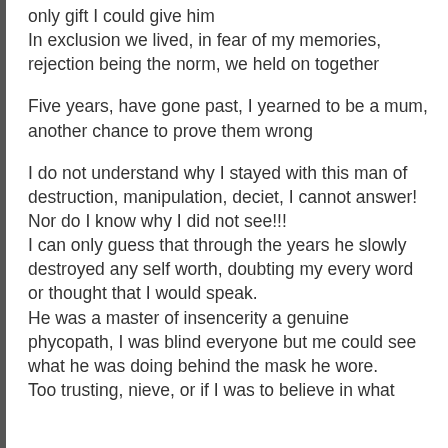only gift I could give him
In exclusion we lived, in fear of my memories, rejection being the norm, we held on together
Five years, have gone past, I yearned to be a mum, another chance to prove them wrong
I do not understand why I stayed with this man of destruction, manipulation, deciet, I cannot answer!
Nor do I know why I did not see!!!
I can only guess that through the years he slowly destroyed any self worth, doubting my every word or thought that I would speak.
He was a master of insencerity a genuine phycopath, I was blind everyone but me could see what he was doing behind the mask he wore.
Too trusting, nieve, or if I was to believe in what